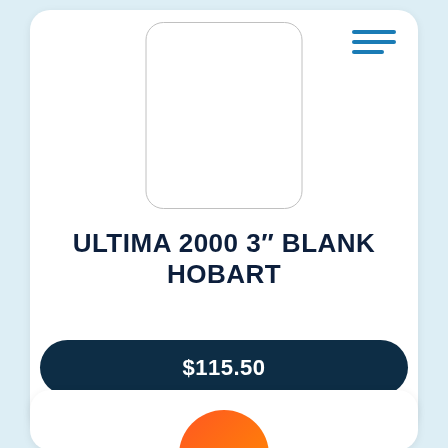[Figure (other): Hamburger menu icon with three blue horizontal lines in top right corner of card]
[Figure (other): Empty product image placeholder box with rounded corners and gray border]
ULTIMA 2000 3" BLANK HOBART
$115.50
[Figure (other): Partially visible orange/red circular element at bottom of page, likely a product image from another card]